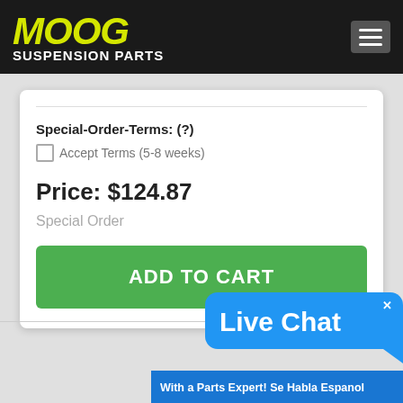[Figure (screenshot): MOOG Suspension Parts website header with yellow italic MOOG logo, white SUSPENSION PARTS text, and hamburger menu icon on dark background]
Special-Order-Terms: (?)
Accept Terms (5-8 weeks)
Price: $124.87
Special Order
ADD TO CART
Live Chat
With a Parts Expert! Se Habla Espanol